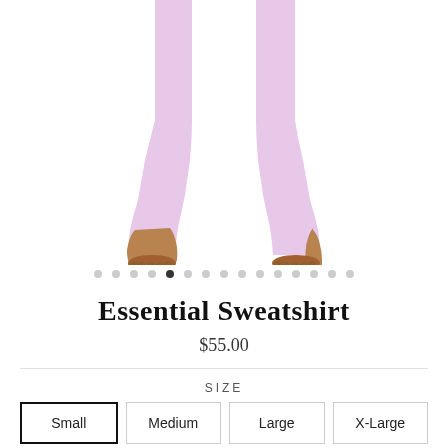[Figure (photo): Cropped photo showing lower half of a person wearing light pink/lavender cropped leggings, bare feet visible, white background]
Essential Sweatshirt
$55.00
SIZE
Small
Medium
Large
X-Large